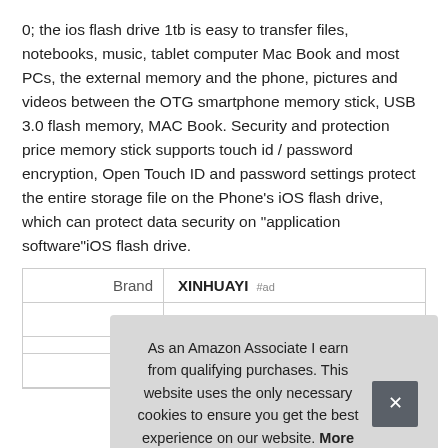0; the ios flash drive 1tb is easy to transfer files, notebooks, music, tablet computer Mac Book and most PCs, the external memory and the phone, pictures and videos between the OTG smartphone memory stick, USB 3.0 flash memory, MAC Book. Security and protection price memory stick supports touch id / password encryption, Open Touch ID and password settings protect the entire storage file on the Phone's iOS flash drive, which can protect data security on "application software"iOS flash drive.
|  |  |
| --- | --- |
| Brand | XINHUAYI #ad |
| Ma… |  |
|  |  |
|  | $199 inches |
As an Amazon Associate I earn from qualifying purchases. This website uses the only necessary cookies to ensure you get the best experience on our website. More information